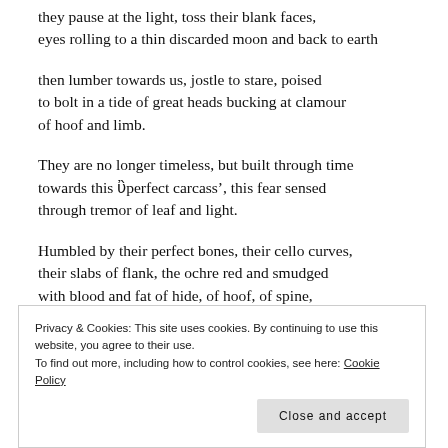they pause at the light, toss their blank faces,
eyes rolling to a thin discarded moon and back to earth
then lumber towards us, jostle to stare, poised
to bolt in a tide of great heads bucking at clamour
of hoof and limb.
They are no longer timeless, but built through time
towards this ‘perfect carcass’, this fear sensed
through tremor of leaf and light.
Humbled by their perfect bones, their cello curves,
their slabs of flank, the ochre red and smudged
with blood and fat of hide, of hoof, of spine,
they watch us with their oilbloom eyes.
We breathe and they may disappear
Privacy & Cookies: This site uses cookies. By continuing to use this website, you agree to their use.
To find out more, including how to control cookies, see here: Cookie Policy
Close and accept